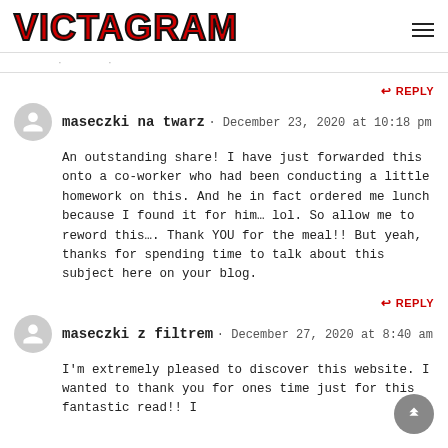VICTAGRAM
· · ·
REPLY
maseczki na twarz · December 23, 2020 at 10:18 pm
An outstanding share! I have just forwarded this onto a co-worker who had been conducting a little homework on this. And he in fact ordered me lunch because I found it for him… lol. So allow me to reword this…. Thank YOU for the meal!! But yeah, thanks for spending time to talk about this subject here on your blog.
REPLY
maseczki z filtrem · December 27, 2020 at 8:40 am
I'm extremely pleased to discover this website. I wanted to thank you for ones time just for this fantastic read!! I